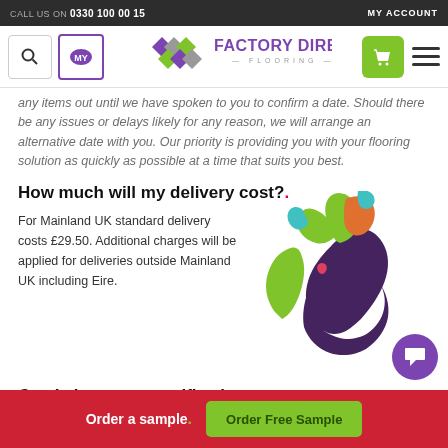CALL US ON 0330 100 00 15 | MY ACCOUNT
[Figure (logo): Factory Direct Flooring logo with coloured diamond tiles and purple/grey wordmark]
any items out until we have spoken to you to confirm a date. Should there be any issues or delays likely for any reason, we will arrange an alternative date with you. Our priority is providing you with your flooring solution as quickly as possible at a time that suits you best.
How much will my delivery cost?.
For Mainland UK standard delivery costs £29.50. Additional charges will be applied for deliveries outside Mainland UK including Eire.
[Figure (map): Map of UK and Ireland showing regions in different colours: England/Wales in dark purple, Scotland highlands in green, north-east Scotland in orange, north-west Scotland in cyan/blue, Ireland in green]
Can I choose a specific slot or a Saturday delivery?
Order a sample. | Order Free Sample